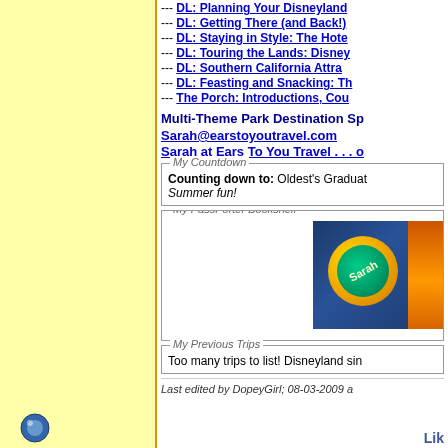--- DL: Planning Your Disneyland
--- DL: Getting There (and Back!)
--- DL: Staying in Style: The Hote
--- DL: Touring the Lands: Disney
--- DL: Southern California Attra
--- DL: Feasting and Snacking: Th
--- The Porch: Introductions, Cou
Multi-Theme Park Destination Sp
Sarah@earstoyoutravel.com
Sarah at Ears To You Travel . . . o
My Countdown - Counting down to: Oldest's Graduat Summer fun!
[Figure (screenshot): My PassPorter Bookshelf section showing a book with a gold circle and green inner circle labeled Sarah, with a dark blue background and partial view of another book]
My Previous Trips - Too many trips to list! Disneyland sin
Last edited by DopeyGirl; 08-03-2009 a